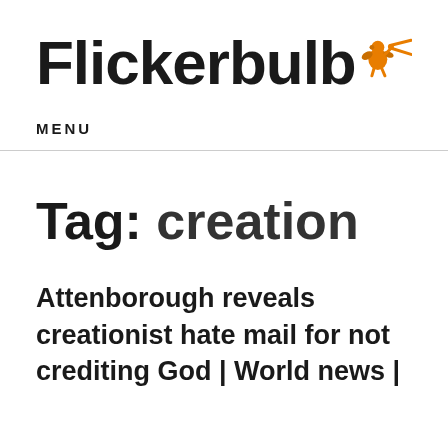[Figure (logo): Flickerbulb logo with bold black text and an orange cherub/angel figure holding scissors]
MENU
Tag: creation
Attenborough reveals creationist hate mail for not crediting God | World news |